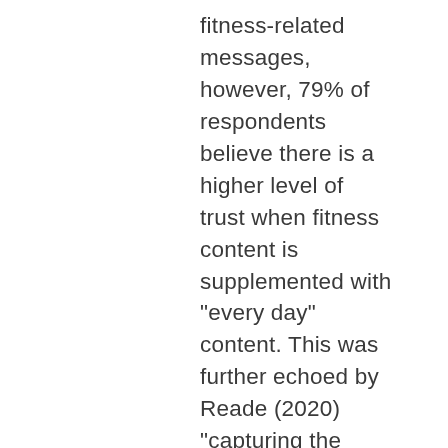fitness-related messages, however, 79% of respondents believe there is a higher level of trust when fitness content is supplemented with "every day" content.  This was further echoed by Reade (2020) "capturing the banality of everyday life and including family members, friends and pets in posts correspond with visual conventions to achieve perceptions of authenticity" (p.12).  For example, individuals may use their story to show 'snippets' into their daily life unrelated to fitness and therefore may increase the sense of a relationship with a follower. Moreover, Reade (2020) suggested that presenting the highs and lows of everyday life was important for relatability with followers and cultivate digital intimacies with